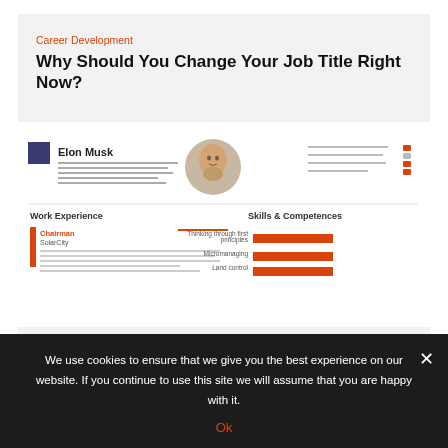Career Development
Why Should You Change Your Job Title Right Now?
[Figure (screenshot): A resume template thumbnail showing Elon Musk's resume with photo, work experience section listing Chairman at SolarCity, and Skills & Competencies section with red bar charts]
Career Development
Being Unemployed Doesn't Mean You Shouldn't Be Working
We use cookies to ensure that we give you the best experience on our website. If you continue to use this site we will assume that you are happy with it.
Ok